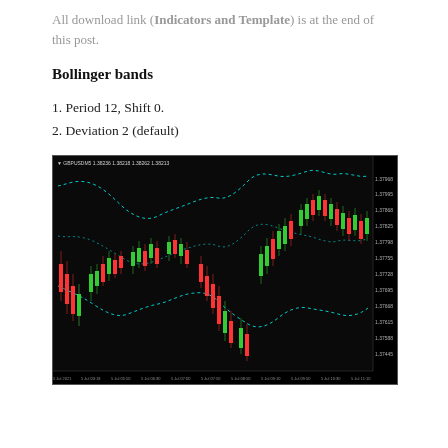All download link (Indicators and Template) is at the end of this post.
Bollinger bands
1. Period 12, Shift 0.
2. Deviation 2 (default)
[Figure (screenshot): Bollinger Bands indicator applied to a candlestick chart showing GBPUSDM5 price action on 5 Jul 2021 from 02:18 to 12:38, with upper and lower dashed teal Bollinger Band lines and red/green candlesticks on a black background. Price range approximately 1.37500 to 1.37960.]